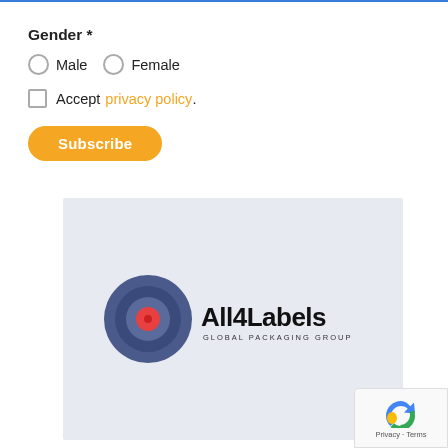Gender *
○ Male  ○ Female
☐ Accept privacy policy.
Subscribe
[Figure (logo): All4Labels Global Packaging Group logo: concentric circles in blue/red with bold text 'All4Labels' and subtitle 'GLOBAL PACKAGING GROUP']
Privacy · Terms